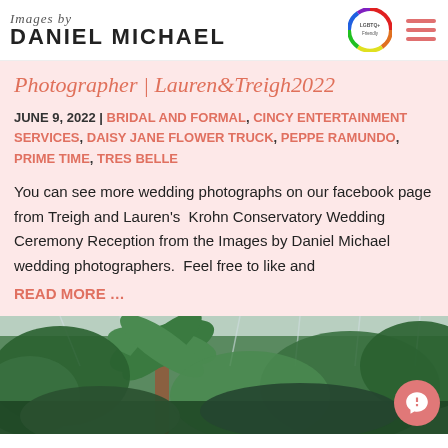Images by DANIEL MICHAEL
Photographer | Lauren&Treigh2022
JUNE 9, 2022 | BRIDAL AND FORMAL, CINCY ENTERTAINMENT SERVICES, DAISY JANE FLOWER TRUCK, PEPPE RAMUNDO, PRIME TIME, TRES BELLE
You can see more wedding photographs on our facebook page from Treigh and Lauren’s  Krohn Conservatory Wedding Ceremony Reception from the Images by Daniel Michael wedding photographers.  Feel free to like and
READ MORE …
[Figure (photo): Lush green tropical plants and palm trees inside a conservatory greenhouse with glass ceiling]